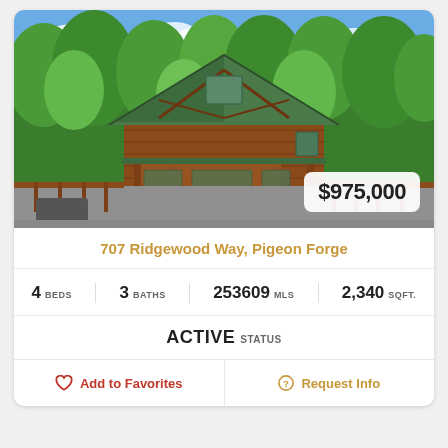[Figure (photo): Exterior photo of a wood log cabin with A-frame style green roof, front porch, surrounded by green trees, with a paved driveway. Price badge shows $975,000.]
707 Ridgewood Way, Pigeon Forge
4 BEDS  3 BATHS  253609 MLS  2,340 SQFT.
ACTIVE STATUS
Add to Favorites
Request Info